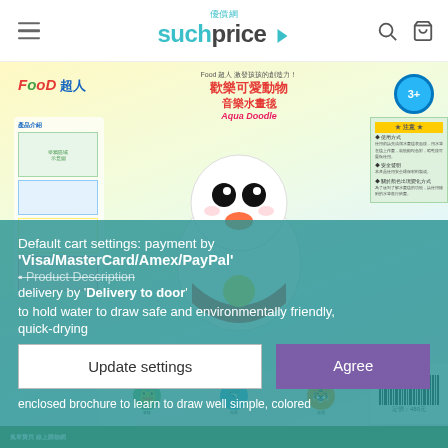suchprice (優價網) - navigation header with search and cart icons
[Figure (photo): Product packaging image for Food 超人 歡樂可愛動物 音樂水畫毯 Aqua Doodle children's art mat, showing cartoon characters and colorful drawing mat panels with instructions]
Default cart settings: payment by 'Visa/MasterCard/Amex/PayPal' delivery by 'Delivery to door'
Product Description
to hold water to draw safe and environmentally friendly, quick-drying
enclosed brochure to learn to draw well simple, colored
Update settings
Agree